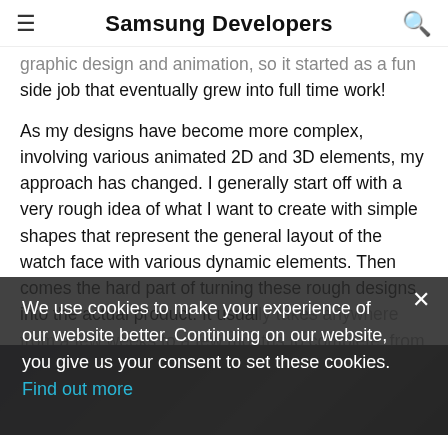Samsung Developers
graphic design and animation, so it started as a fun side job that eventually grew into full time work!
As my designs have become more complex, involving various animated 2D and 3D elements, my approach has changed. I generally start off with a very rough idea of what I want to create with simple shapes that represent the general layout of the watch face with various dynamic elements. Then comes the hard part of turning these rough designs into the actual product. It usually takes anywhere from a few weeks to a few months to complete, from the initial idea of concept...
[Figure (photo): Dark photo, partially visible at bottom of page]
We use cookies to make your experience of our website better. Continuing on our website, you give us your consent to set these cookies. Find out more